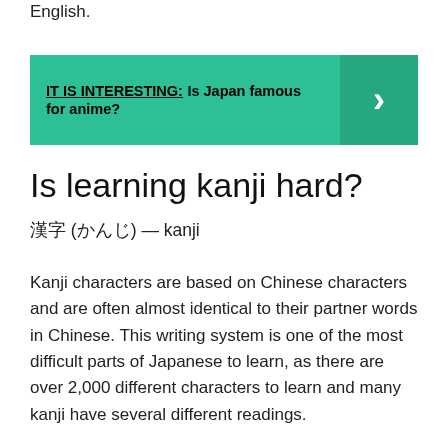English.
[Figure (infographic): Teal banner with 'IT IS INTERESTING: Is Japan famous for anime?' text and a right-arrow chevron on a darker teal background on the right side.]
Is learning kanji hard?
漢字 (かんじ) — kanji
Kanji characters are based on Chinese characters and are often almost identical to their partner words in Chinese. This writing system is one of the most difficult parts of Japanese to learn, as there are over 2,000 different characters to learn and many kanji have several different readings.